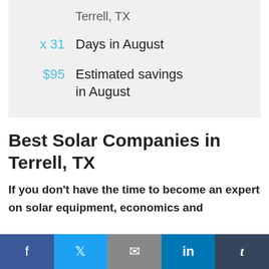Terrell, TX
x 31   Days in August
$95   Estimated savings in August
Best Solar Companies in Terrell, TX
If you don't have the time to become an expert on solar equipment, economics and
f  [Twitter bird]  [envelope]  in  t